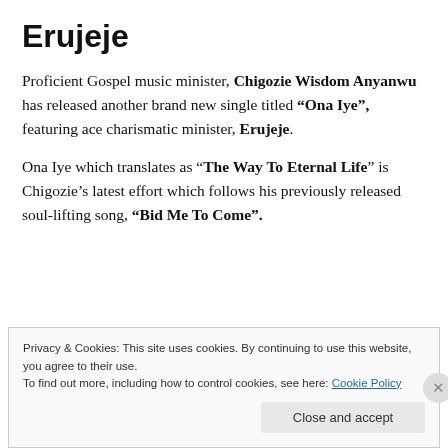Erujeje
Proficient Gospel music minister, Chigozie Wisdom Anyanwu has released another brand new single titled “Ona Iye”, featuring ace charismatic minister, Erujeje.
Ona Iye which translates as “The Way To Eternal Life” is Chigozie’s latest effort which follows his previously released soul-lifting song, “Bid Me To Come”.
Privacy & Cookies: This site uses cookies. By continuing to use this website, you agree to their use.
To find out more, including how to control cookies, see here: Cookie Policy